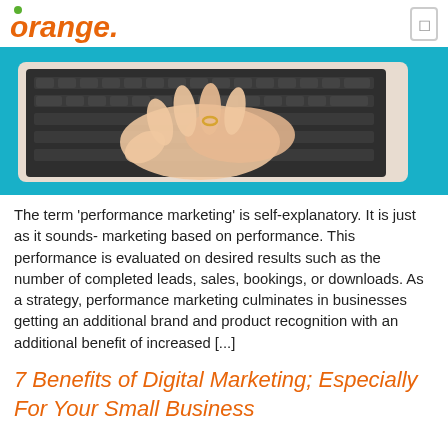orange
[Figure (photo): A person's hands typing on a laptop keyboard, photographed from above. The laptop is white/silver and the background is bright teal/cyan. The person wears a ring on one finger.]
The term 'performance marketing' is self-explanatory. It is just as it sounds- marketing based on performance. This performance is evaluated on desired results such as the number of completed leads, sales, bookings, or downloads. As a strategy, performance marketing culminates in businesses getting an additional brand and product recognition with an additional benefit of increased [...]
7 Benefits of Digital Marketing; Especially For Your Small Business